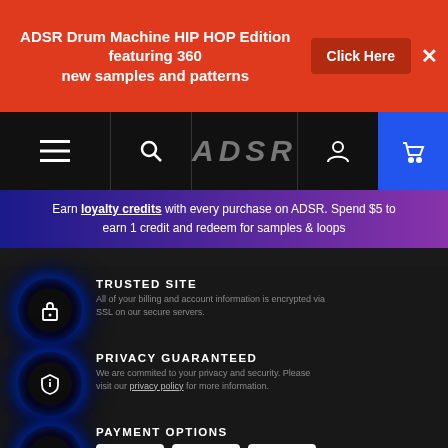ADSR Drum Machine HIP HOP Edition featuring 360 new samples and patterns
Click Here
[Figure (logo): ADSR logo in grey metallic text on black navigation bar with hamburger menu, search, account, and cart icons]
Earn loyalty credits with every purchase on ADSR. Spend $5 to earn 1 credit and redeem for samples & loops
TRUSTED SITE
All of your billing and account information is encrypted via SSL on our secure servers.
PRIVACY GUARANTEED
We are commited to your privacy and security. Please visit our privacy policy for more information.
PAYMENT OPTIONS
[Figure (logo): Payment method logos: VISA, Mastercard, PayPal]